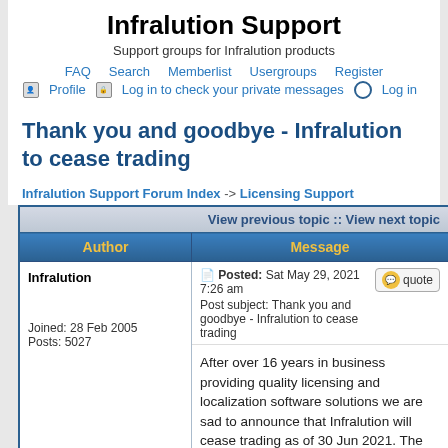Infralution Support
Support groups for Infralution products
FAQ  Search  Memberlist  Usergroups  Register  Profile  Log in to check your private messages  Log in
Thank you and goodbye - Infralution to cease trading
Infralution Support Forum Index -> Licensing Support
| Author | Message |
| --- | --- |
| Infralution

Joined: 28 Feb 2005
Posts: 5027 | Posted: Sat May 29, 2021 7:26 am  Post subject: Thank you and goodbye - Infralution to cease trading

After over 16 years in business providing quality licensing and localization software solutions we are sad to announce that Infralution will cease trading as of 30 Jun 2021. The world has moved on from the type |